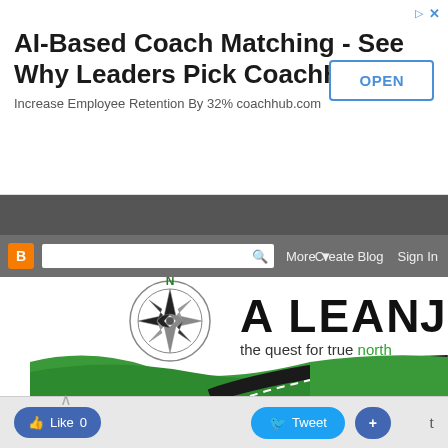[Figure (screenshot): Advertisement banner: AI-Based Coach Matching - See Why Leaders Pick CoachHub. Increase Employee Retention By 32% coachhub.com. OPEN button.]
[Figure (screenshot): Browser navigation bar and Blogger toolbar with search box, More dropdown, Create Blog and Sign In links.]
[Figure (logo): A Lean Journey blog header with compass rose logo and text 'A LEAN J' and 'the quest for true north' with green road/landscape graphic.]
[Figure (screenshot): Social sharing bar with Like 0, Tweet, and + buttons at the bottom.]